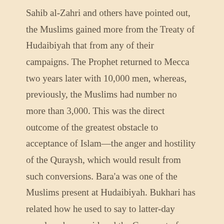Sahib al-Zahri and others have pointed out, the Muslims gained more from the Treaty of Hudaibiyah that from any of their campaigns. The Prophet returned to Mecca two years later with 10,000 men, whereas, previously, the Muslims had number no more than 3,000. This was the direct outcome of the greatest obstacle to acceptance of Islam—the anger and hostility of the Quraysh, which would result from such conversions. Bara'a was one of the Muslims present at Hudaibiyah. Bukhari has related how he used to say to latter-day people, who considered the Conquest of Mecca to be the great victory of Islam, that the Companions of